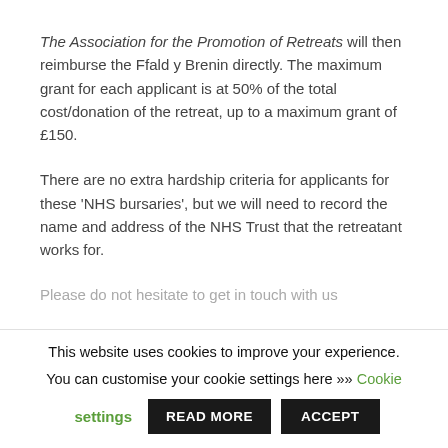The Association for the Promotion of Retreats will then reimburse the Ffald y Brenin directly. The maximum grant for each applicant is at 50% of the total cost/donation of the retreat, up to a maximum grant of £150.
There are no extra hardship criteria for applicants for these 'NHS bursaries', but we will need to record the name and address of the NHS Trust that the retreatant works for.
Please do not hesitate to get in touch with us
This website uses cookies to improve your experience. You can customise your cookie settings here >> Cookie settings READ MORE ACCEPT